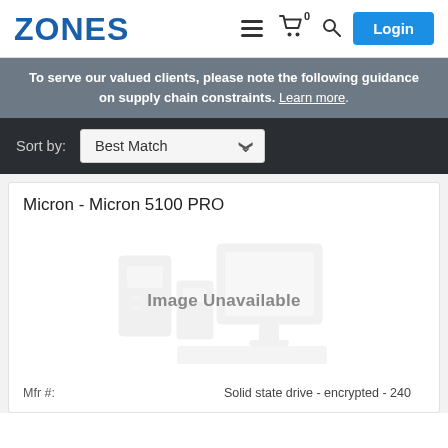ZONES | Login
To serve our valued clients, please note the following guidance on supply chain constraints. Learn more.
Sort by: Best Match
Micron - Micron 5100 PRO
[Figure (illustration): Image Unavailable placeholder with faded computer hardware icons]
Mfr #:    Solid state drive - encrypted - 240